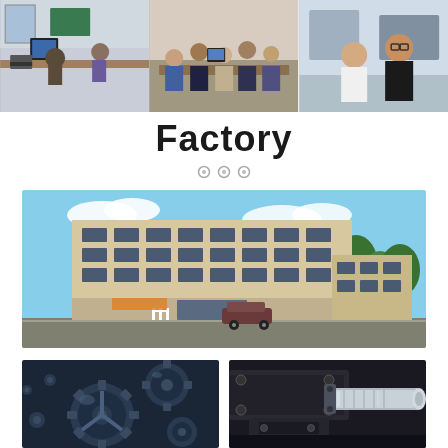[Figure (photo): Top row of three photos: office/workspace scene, business meeting scene, two people posing at an exhibition]
Factory
[Figure (photo): Exterior rendering of a large multi-story factory/office building with cars and trees]
[Figure (photo): Close-up of industrial gears and mechanical components in blue-tinted color]
[Figure (photo): Close-up of industrial machinery parts and shafts in dark tones]